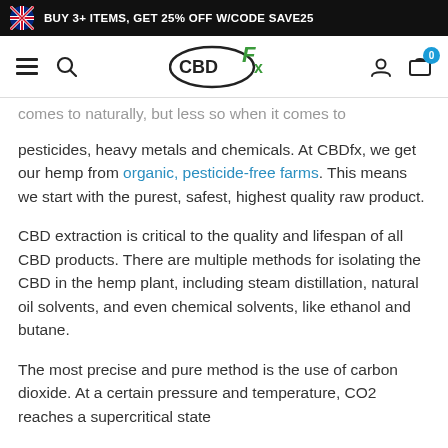BUY 3+ ITEMS, GET 25% OFF W/CODE SAVE25
[Figure (logo): CBDfx logo with CBD text in oval and Fx in green]
...comes to naturally, but less so when it comes to pesticides, heavy metals and chemicals. At CBDfx, we get our hemp from organic, pesticide-free farms. This means we start with the purest, safest, highest quality raw product.
CBD extraction is critical to the quality and lifespan of all CBD products. There are multiple methods for isolating the CBD in the hemp plant, including steam distillation, natural oil solvents, and even chemical solvents, like ethanol and butane.
The most precise and pure method is the use of carbon dioxide. At a certain pressure and temperature, CO2 reaches a supercritical state